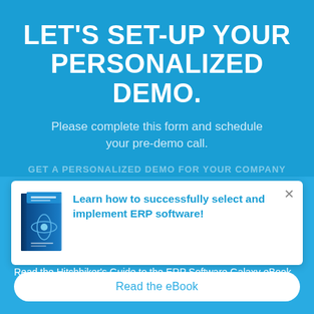LET'S SET-UP YOUR PERSONALIZED DEMO.
Please complete this form and schedule your pre-demo call.
[Figure (illustration): Book cover thumbnail: The Hitchhiker's Guide to the ERP Software Galaxy eBook with blue cover and atomic/orbit graphic]
Learn how to successfully select and implement ERP software!
Read the Hitchhiker's Guide to the ERP Software Galaxy eBook.
Read the eBook